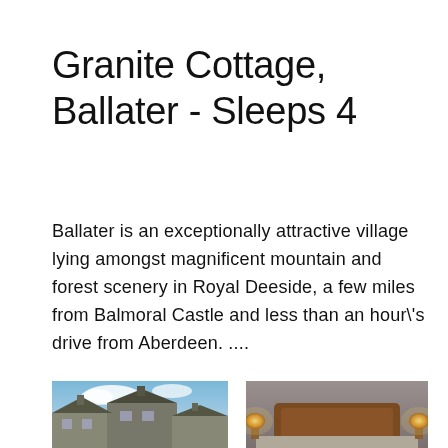Granite Cottage, Ballater - Sleeps 4
Ballater is an exceptionally attractive village lying amongst magnificent mountain and forest scenery in Royal Deeside, a few miles from Balmoral Castle and less than an hour\'s drive from Aberdeen. ....
[Figure (photo): Exterior photograph of a stone cottage building with grey slate roof and chimney stacks, set against a blue sky with white clouds]
[Figure (photo): Interior photograph of a bedroom featuring a wooden headboard bed with bedside lamps glowing warmly on either side]